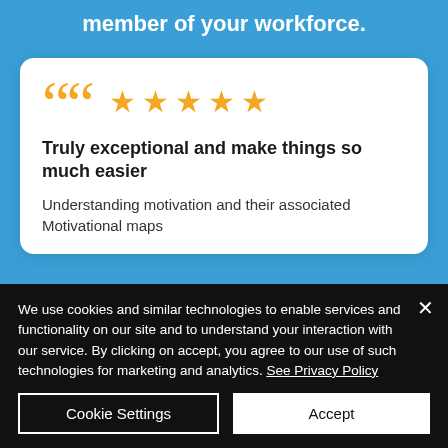member of your workforce.
[Figure (illustration): White card with large golden quotation marks on the left and five golden stars on the right]
Truly exceptional and make things so much easier
Understanding motivation and their associated Motivational maps
We use cookies and similar technologies to enable services and functionality on our site and to understand your interaction with our service. By clicking on accept, you agree to our use of such technologies for marketing and analytics. See Privacy Policy
Cookie Settings
Accept